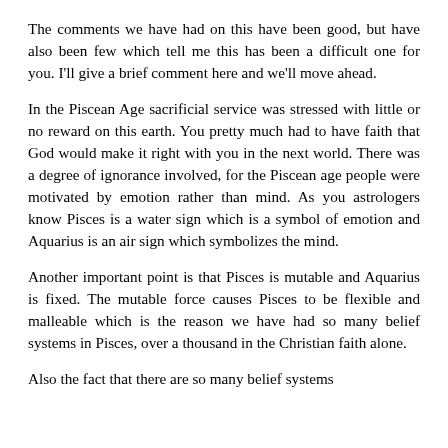The comments we have had on this have been good, but have also been few which tell me this has been a difficult one for you. I'll give a brief comment here and we'll move ahead.
In the Piscean Age sacrificial service was stressed with little or no reward on this earth. You pretty much had to have faith that God would make it right with you in the next world. There was a degree of ignorance involved, for the Piscean age people were motivated by emotion rather than mind. As you astrologers know Pisces is a water sign which is a symbol of emotion and Aquarius is an air sign which symbolizes the mind.
Another important point is that Pisces is mutable and Aquarius is fixed. The mutable force causes Pisces to be flexible and malleable which is the reason we have had so many belief systems in Pisces, over a thousand in the Christian faith alone.
Also the fact that there are so many belief systems